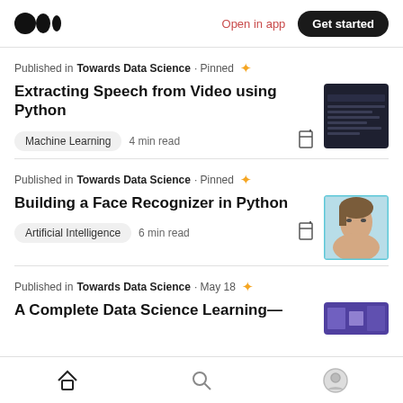Medium logo | Open in app | Get started
Published in Towards Data Science · Pinned
Extracting Speech from Video using Python
Machine Learning  4 min read
[Figure (photo): Dark screenshot of a code/video editor interface]
Published in Towards Data Science · Pinned
Building a Face Recognizer in Python
Artificial Intelligence  6 min read
[Figure (photo): Photo of a woman's face used for face recognition demo]
Published in Towards Data Science · May 18
Home | Search | Profile